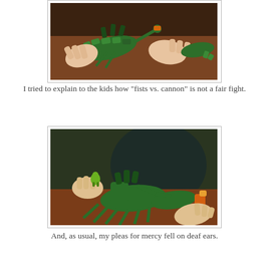[Figure (photo): Child's hands playing with green plastic alien/creature toys on a brown table surface. Multiple green articulated figures visible.]
I tried to explain to the kids how "fists vs. cannon" is not a fair fight.
[Figure (photo): Close-up of green plastic creature/robot toy being held by child's hands on a brown table, with a dark background. Orange accent visible on the toy.]
And, as usual, my pleas for mercy fell on deaf ears.